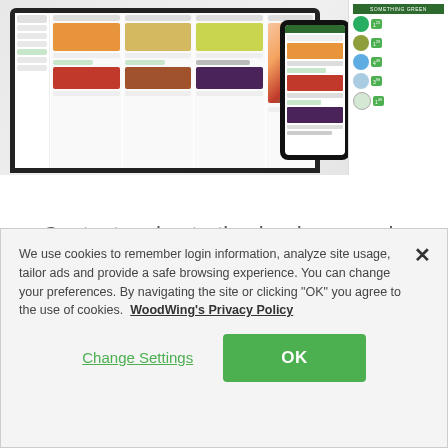[Figure (screenshot): Screenshot mockup showing a grocery e-commerce website on a laptop screen, a mobile phone, and a printed grocery flyer/circular with produce items (peaches, tomatoes, apples, herbs, succulents) and green pricing labels. The flyer header reads 'SOMETHING GREEN'.]
Content orchestration is when people and tools are optimized to work seamlessly together. It helps busy teams to plan, create, manage and
We use cookies to remember login information, analyze site usage, tailor ads and provide a safe browsing experience. You can change your preferences. By navigating the site or clicking “OK” you agree to the use of cookies.  WoodWing's Privacy Policy
Change Settings
OK